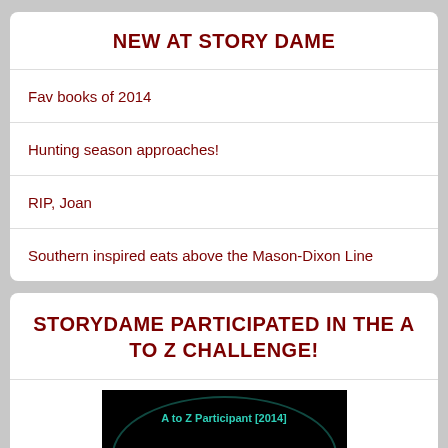NEW AT STORY DAME
Fav books of 2014
Hunting season approaches!
RIP, Joan
Southern inspired eats above the Mason-Dixon Line
STORYDAME PARTICIPATED IN THE A TO Z CHALLENGE!
[Figure (logo): A to Z Participant [2014] badge with teal lettering on black background showing large letters A to Z]